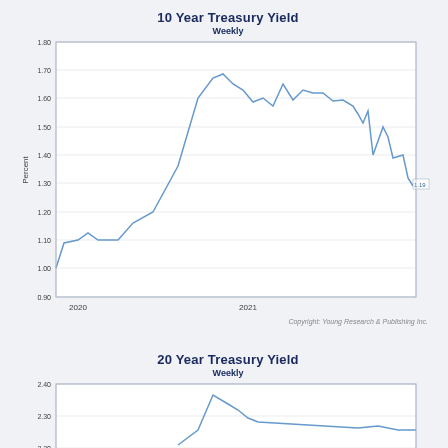[Figure (line-chart): Weekly 10-year Treasury yield line chart from 2020 to late 2021. Starts near 0.93, rises to ~1.13, stays ~1.10, rises sharply through early 2021 to peak ~1.74, fluctuates between 1.58-1.72, then trends down to ~1.63, dips to ~1.46, recovers to ~1.54, then falls to endpoint ~1.37 labeled 1.19]
Copyright: Young Research & Publishing Inc.
[Figure (line-chart): Weekly 20-year Treasury yield line chart from 2020 to late 2021, partially visible. Shows values around 2.3-2.35 area with a peak near 2.35 and current values around 2.25-2.28]